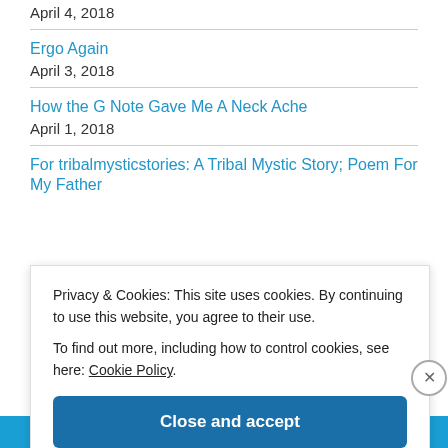April 4, 2018
Ergo Again
April 3, 2018
How the G Note Gave Me A Neck Ache
April 1, 2018
For tribalmysticstories: A Tribal Mystic Story; Poem For My Father
Privacy & Cookies: This site uses cookies. By continuing to use this website, you agree to their use.
To find out more, including how to control cookies, see here: Cookie Policy
Close and accept